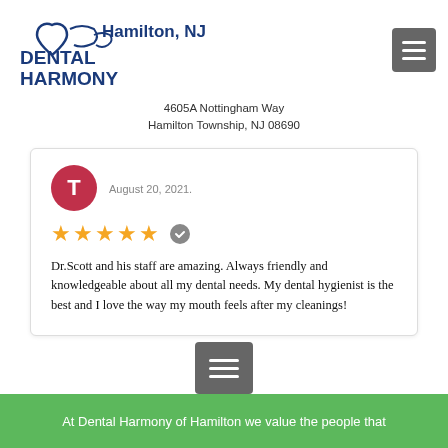[Figure (logo): Dental Harmony Hamilton NJ logo with heart and dental motif]
4605A Nottingham Way
Hamilton Township, NJ 08690
August 20, 2021.
Dr.Scott and his staff are amazing. Always friendly and knowledgeable about all my dental needs. My dental hygienist is the best and I love the way my mouth feels after my cleanings!
At Dental Harmony of Hamilton we value the people that